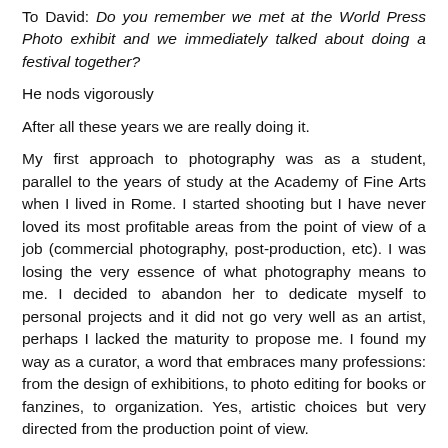To David: Do you remember we met at the World Press Photo exhibit and we immediately talked about doing a festival together?
He nods vigorously
After all these years we are really doing it.
My first approach to photography was as a student, parallel to the years of study at the Academy of Fine Arts when I lived in Rome. I started shooting but I have never loved its most profitable areas from the point of view of a job (commercial photography, post-production, etc). I was losing the very essence of what photography means to me. I decided to abandon her to dedicate myself to personal projects and it did not go very well as an artist, perhaps I lacked the maturity to propose me. I found my way as a curator, a word that embraces many professions: from the design of exhibitions, to photo editing for books or fanzines, to organization. Yes, artistic choices but very directed from the production point of view.